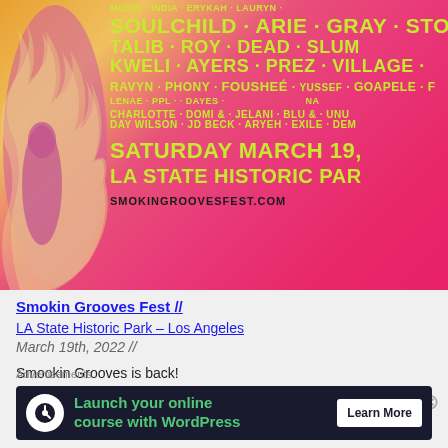[Figure (illustration): Smokin Grooves Fest concert poster with pink and orange gradient background, flame decorations on left, yellow-green text listing artists including Soulchild, Arie, Gray, Stone, Talib Kweli, Roy Ayers, Dead Prez, Slum Village, Ravyn Lenae, Phony Ppl, Fousheé, Yussef Dayes, Goapele, Charlotte Day Wilson, Domi & JD Beck, Jelani Aryeh, Blu & Exile. Date: Saturday March 19, venue: LA State Historic Park. Website: SMOKINGROOVESFEST.COM]
Smokin Grooves Fest //
LA State Historic Park – Los Angeles
March 19th, 2022 //
Smookin Grooves is back!
Advertisements
Launch your online course with WordPress  Learn More